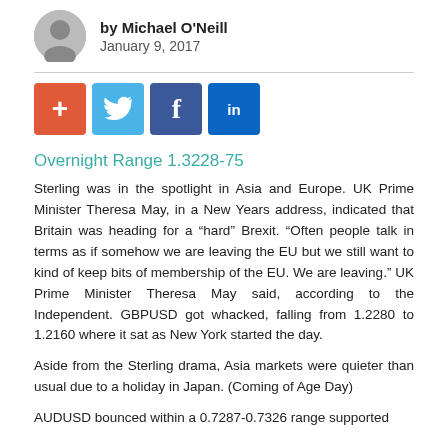by Michael O'Neill
January 9, 2017
[Figure (infographic): Social sharing buttons: plus/add (orange), Twitter (blue bird), Facebook (dark blue f), LinkedIn (blue in)]
Overnight Range 1.3228-75
Sterling was in the spotlight in Asia and Europe. UK Prime Minister Theresa May, in a New Years address, indicated that Britain was heading for a “hard” Brexit. “Often people talk in terms as if somehow we are leaving the EU but we still want to kind of keep bits of membership of the EU. We are leaving.” UK Prime Minister Theresa May said, according to the Independent. GBPUSD got whacked, falling from 1.2280 to 1.2160 where it sat as New York started the day.
Aside from the Sterling drama, Asia markets were quieter than usual due to a holiday in Japan. (Coming of Age Day)
AUDUSD bounced within a 0.7287-0.7326 range supported